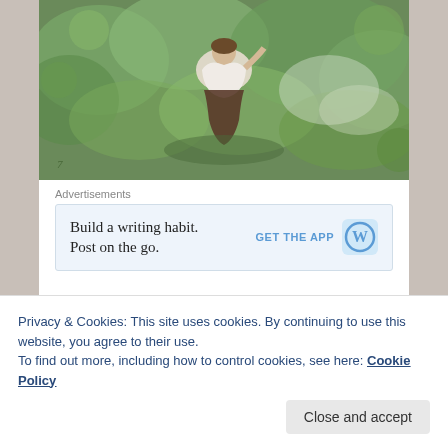[Figure (illustration): A classical painting of a woman in a white dress sitting in lush green foliage/garden setting]
Advertisements
[Figure (screenshot): Advertisement: 'Build a writing habit. Post on the go.' with a 'GET THE APP' call to action and WordPress logo]
I can be quick and funny edging on sarcastic but with no intention to harm or hurt. I've had more than one person
Privacy & Cookies: This site uses cookies. By continuing to use this website, you agree to their use.
To find out more, including how to control cookies, see here: Cookie Policy
Close and accept
children, 20 and almost 22. A son, bright, warm brown